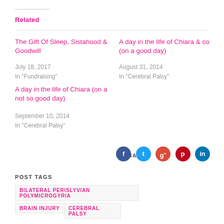Related
The Gift Of Sleep, Sistahood & Goodwill
July 18, 2017
In "Fundraising"
A day in the life of Chiara & co (on a good day)
August 31, 2014
In "Cerebral Palsy"
A day in the life of Chiara (on a not so good day)
September 10, 2014
In "Cerebral Palsy"
SHARE
[Figure (infographic): Social share icons for Facebook, Twitter, Google+, Pinterest, LinkedIn]
POST TAGS
BILATERAL PERISLYVIAN POLYMICROGYRIA
BRAIN INJURY
CEREBRAL PALSY